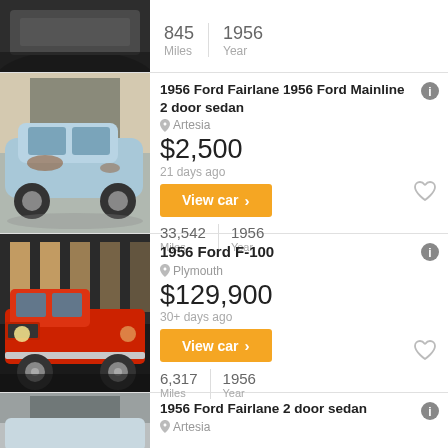[Figure (photo): Partial top crop of a classic car listing photo, showing the rear of a dark classic car in a showroom]
845 Miles | 1956 Year
[Figure (photo): 1956 Ford Mainline 2 door sedan in light blue with rust, parked outside]
1956 Ford Fairlane 1956 Ford Mainline 2 door sedan
Artesia
$2,500
21 days ago
View car >
33,542 Miles | 1956 Year
[Figure (photo): 1956 Ford F-100 red pickup truck in a showroom with lights]
1956 Ford F-100
Plymouth
$129,900
30+ days ago
View car >
6,317 Miles | 1956 Year
1956 Ford Fairlane 2 door sedan
Artesia